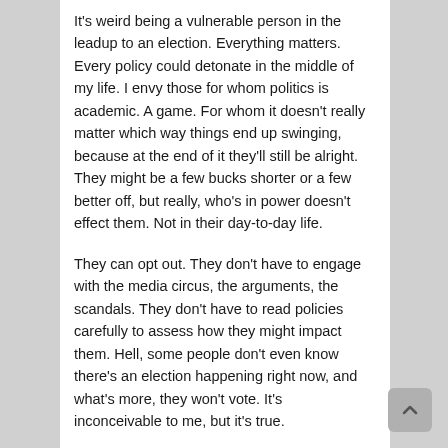It's weird being a vulnerable person in the leadup to an election. Everything matters. Every policy could detonate in the middle of my life. I envy those for whom politics is academic. A game. For whom it doesn't really matter which way things end up swinging, because at the end of it they'll still be alright. They might be a few bucks shorter or a few better off, but really, who's in power doesn't effect them. Not in their day-to-day life.
They can opt out. They don't have to engage with the media circus, the arguments, the scandals. They don't have to read policies carefully to assess how they might impact them. Hell, some people don't even know there's an election happening right now, and what's more, they won't vote. It's inconceivable to me, but it's true.
Unfortunately, that's not my reality. It's hard to explain how acutely exhausting it is being a